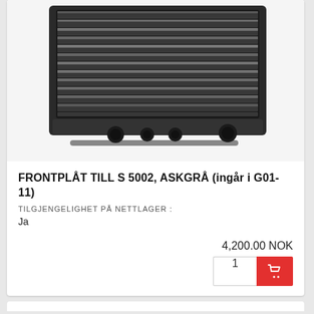[Figure (photo): Product photo of a dark anthracite/ash grey radiator front panel (FRONTPLÅT TILL S 5002, ASKGRÅ) showing horizontal slats and black valve connections at the bottom]
FRONTPLÅT TILL S 5002, ASKGRÅ (ingår i G01-11)
TILGJENGELIGHET PÅ NETTLAGER :
Ja
4,200.00 NOK
1